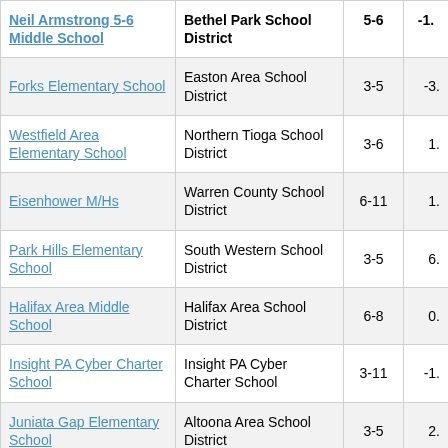| School | District | Grades | Score |
| --- | --- | --- | --- |
| Neil Armstrong 5-6 Middle School | Bethel Park School District | 5-6 | -1. |
| Forks Elementary School | Easton Area School District | 3-5 | -3. |
| Westfield Area Elementary School | Northern Tioga School District | 3-6 | 1. |
| Eisenhower M/Hs | Warren County School District | 6-11 | 1. |
| Park Hills Elementary School | South Western School District | 3-5 | 6. |
| Halifax Area Middle School | Halifax Area School District | 6-8 | 0. |
| Insight PA Cyber Charter School | Insight PA Cyber Charter School | 3-11 | -1. |
| Juniata Gap Elementary School | Altoona Area School District | 3-5 | 2. |
| Wyalusing Valley | Wyalusong Area | 3-6 | 0 |